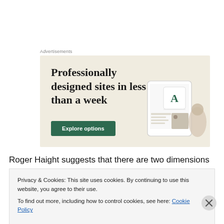Advertisements
[Figure (screenshot): Advertisement banner with beige background showing text 'Professionally designed sites in less than a week' with a green 'Explore options' button and mockup screenshots of website builder interface.]
Roger Haight suggests that there are two dimensions or
Privacy & Cookies: This site uses cookies. By continuing to use this website, you agree to their use.
To find out more, including how to control cookies, see here: Cookie Policy
Close and accept